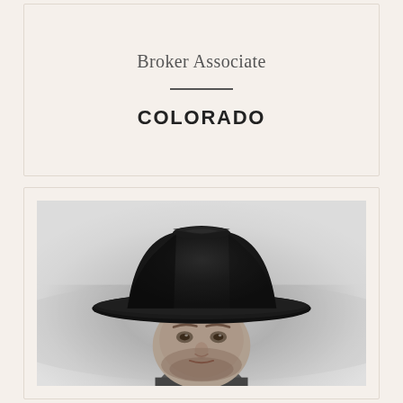Broker Associate
COLORADO
[Figure (photo): Black and white portrait photograph of a man wearing a dark cowboy hat, looking slightly downward toward the camera, with a short beard, outdoors with a blurred background.]